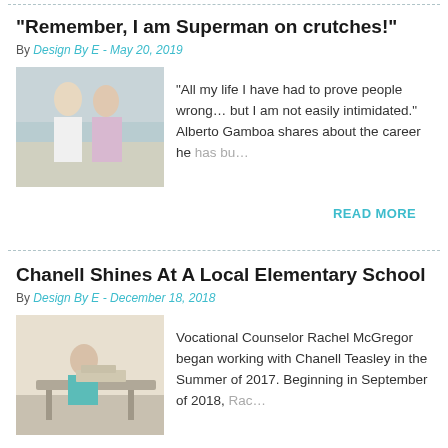“Remember, I am Superman on crutches!”
By Design By E - May 20, 2019
[Figure (photo): Photo of two people posing together outdoors near water]
“All my life I have had to prove people wrong… but I am not easily intimidated.” Alberto Gamboa shares about the career he has bu…
READ MORE
Chanell Shines At A Local Elementary School
By Design By E - December 18, 2018
[Figure (photo): Photo of a person working at a table in what appears to be a classroom or workshop]
Vocational Counselor Rachel McGregor began working with Chanell Teasley in the Summer of 2017. Beginning in September of 2018, Rac…
READ MORE